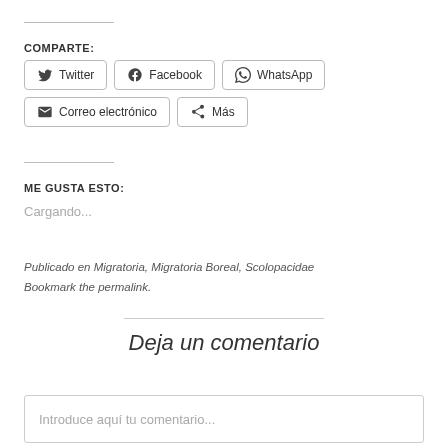COMPARTE:
[Figure (other): Social share buttons: Twitter, Facebook, WhatsApp, Correo electrónico, Más]
ME GUSTA ESTO:
Cargando...
Publicado en Migratoria, Migratoria Boreal, Scolopacidae Bookmark the permalink.
Deja un comentario
Introduce aquí tu comentario...